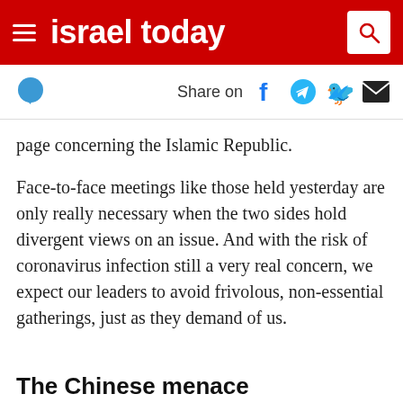israel today
Share on
page concerning the Islamic Republic.
Face-to-face meetings like those held yesterday are only really necessary when the two sides hold divergent views on an issue. And with the risk of coronavirus infection still a very real concern, we expect our leaders to avoid frivolous, non-essential gatherings, just as they demand of us.
The Chinese menace